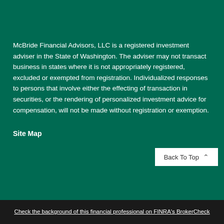McBride Financial Advisors, LLC is a registered investment adviser in the State of Washington. The adviser may not transact business in states where it is not appropriately registered, excluded or exempted from registration. Individualized responses to persons that involve either the effecting of transaction in securities, or the rendering of personalized investment advice for compensation, will not be made without registration or exemption.
Site Map
Check the background of this financial professional on FINRA's BrokerCheck